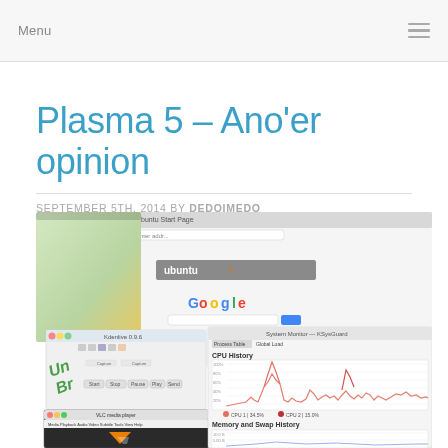Menu
Plasma 5 – Ano'er opinion
SEPTEMBER 5TH, 2014 BY DEDOIMEDO
[Figure (screenshot): Composite screenshot showing Ubuntu desktop with Chrome browser open on Google, a Kdenlive video editor window, a VLC media player window, and a KDE System Monitor showing CPU History and Memory and Swap History graphs]